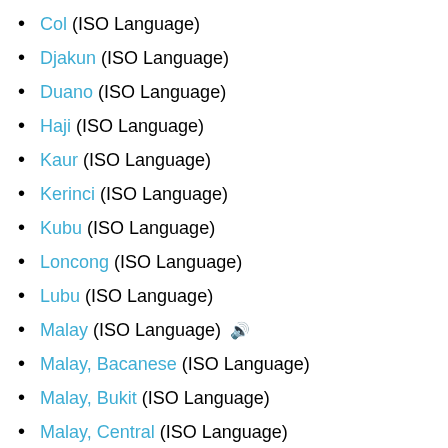Col (ISO Language)
Djakun (ISO Language)
Duano (ISO Language)
Haji (ISO Language)
Kaur (ISO Language)
Kerinci (ISO Language)
Kubu (ISO Language)
Loncong (ISO Language)
Lubu (ISO Language)
Malay (ISO Language) 🔊
Malay, Bacanese (ISO Language)
Malay, Bukit (ISO Language)
Malay, Central (ISO Language)
Malay, Cocos Islands (ISO Language)
Malay, Jambi (ISO Language) 🔊
Malay, Kedah (ISO Language)
Malay, Kota Bangun Kutai (ISO Language) 🔊
Malay, Manado (ISO Language) 🔊